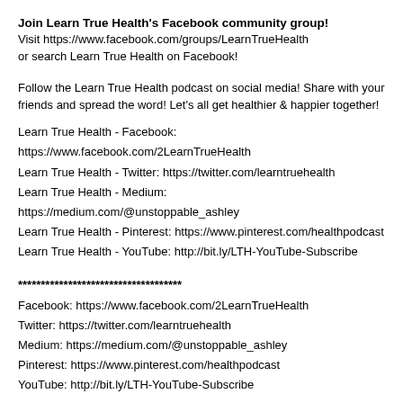Join Learn True Health's Facebook community group!
Visit https://www.facebook.com/groups/LearnTrueHealth
or search Learn True Health on Facebook!
Follow the Learn True Health podcast on social media! Share with your friends and spread the word! Let's all get healthier & happier together!
Learn True Health - Facebook: https://www.facebook.com/2LearnTrueHealth
Learn True Health - Twitter: https://twitter.com/learntruehealth
Learn True Health - Medium: https://medium.com/@unstoppable_ashley
Learn True Health - Pinterest: https://www.pinterest.com/healthpodcast
Learn True Health - YouTube: http://bit.ly/LTH-YouTube-Subscribe
************************************
Facebook: https://www.facebook.com/2LearnTrueHealth
Twitter: https://twitter.com/learntruehealth
Medium: https://medium.com/@unstoppable_ashley
Pinterest: https://www.pinterest.com/healthpodcast
YouTube: http://bit.ly/LTH-YouTube-Subscribe
Dj Quads - It just makes me happy" is under a Creative Commons license (CC BY-NC-SA 3.0)